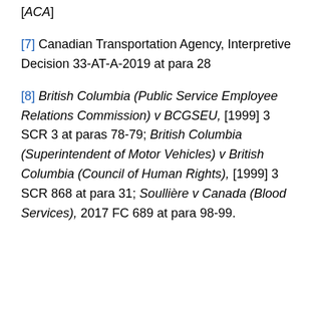[ACA]
[7] Canadian Transportation Agency, Interpretive Decision 33-AT-A-2019 at para 28
[8] British Columbia (Public Service Employee Relations Commission) v BCGSEU, [1999] 3 SCR 3 at paras 78-79; British Columbia (Superintendent of Motor Vehicles) v British Columbia (Council of Human Rights), [1999] 3 SCR 868 at para 31; Soullière v Canada (Blood Services), 2017 FC 689 at para 98-99.